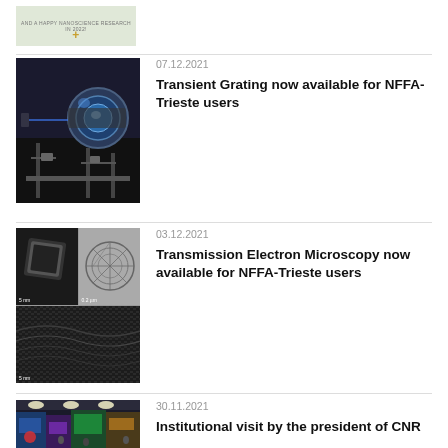[Figure (photo): Partial card showing a nanoscience research image with a plus icon and text 'AND A HAPPY NANOSCIENCE RESEARCH IN 2022!']
07.12.2021
Transient Grating now available for NFFA-Trieste users
[Figure (photo): Laser optics equipment in a laboratory setting]
03.12.2021
Transmission Electron Microscopy now available for NFFA-Trieste users
[Figure (photo): Transmission electron microscopy images showing nanoparticles at 5nm and 0.2nm scale]
30.11.2021
Institutional visit by the president of CNR
[Figure (photo): Exhibition hall with colorful displays and overhead lighting]